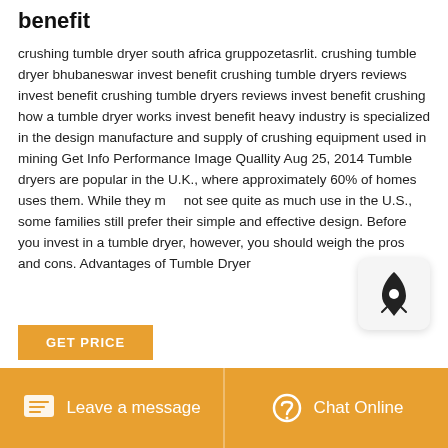benefit
crushing tumble dryer south africa gruppozetasrlit. crushing tumble dryer bhubaneswar invest benefit crushing tumble dryers reviews invest benefit crushing tumble dryers reviews invest benefit crushing how a tumble dryer works invest benefit heavy industry is specialized in the design manufacture and supply of crushing equipment used in mining Get Info Performance Image Quallity Aug 25, 2014 Tumble dryers are popular in the U.K., where approximately 60% of homes uses them. While they may not see quite as much use in the U.S., some families still prefer their simple and effective design. Before you invest in a tumble dryer, however, you should weigh the pros and cons. Advantages of Tumble Dryer
GET PRICE
Leave a message
Chat Online